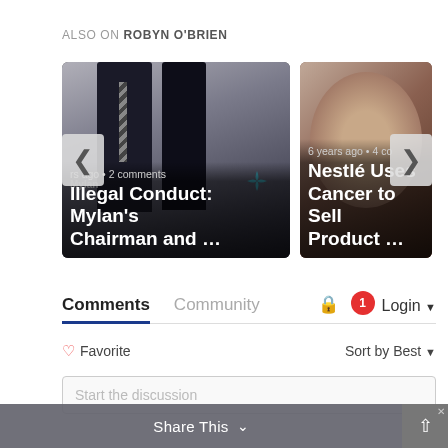ALSO ON ROBYN O'BRIEN
[Figure (screenshot): Carousel of two article cards. Left card shows two people in formal attire with overlay text 'rs ago • 2 comments' and title 'Illegal Conduct: Mylan's Chairman and …'. Right card shows a close-up with overlay text '6 years ago • 4 co' and title 'Nestlé Uses Cancer to Sell Product …'. Left and right navigation arrows visible.]
Comments   Community   🔒   1   Login ▾
♡ Favorite                              Sort by Best ▾
Start the discussion
Share This  ∨